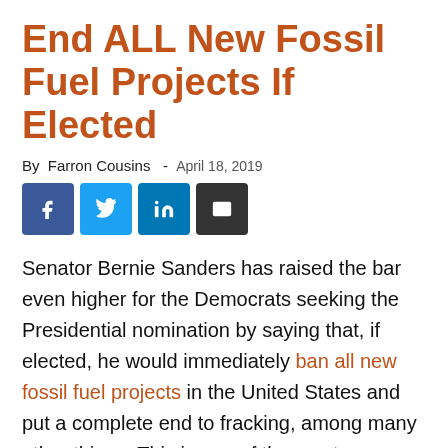End ALL New Fossil Fuel Projects If Elected
By Farron Cousins  -  April 18, 2019
[Figure (other): Social media share buttons: Facebook, Twitter, LinkedIn, Email]
Senator Bernie Sanders has raised the bar even higher for the Democrats seeking the Presidential nomination by saying that, if elected, he would immediately ban all new fossil fuel projects in the United States and put a complete end to fracking, among many other things. This is one of the most comprehensive plans we've seen from any candidate with regards to addressing climate change, and it certainly puts Bernie ahead of the rest of the pack. Ring of Fire's Farron Cousins